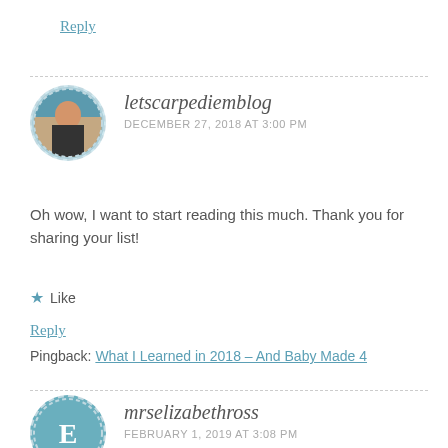Reply
[Figure (photo): Circular avatar photo of letscarpediemblog commenter, showing a person outdoors]
letscarpediemblog
DECEMBER 27, 2018 AT 3:00 PM
Oh wow, I want to start reading this much. Thank you for sharing your list!
Like
Reply
Pingback: What I Learned in 2018 – And Baby Made 4
[Figure (illustration): Circular avatar with letter E for mrselizabethross commenter]
mrselizabethross
FEBRUARY 1, 2019 AT 3:08 PM